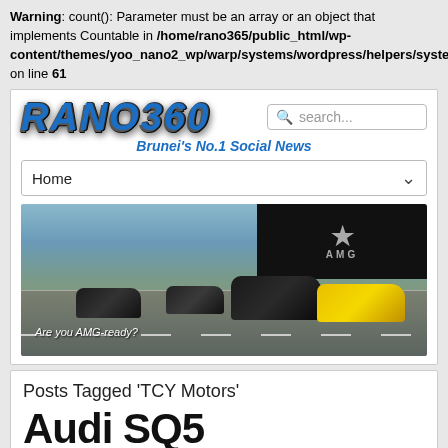Warning: count(): Parameter must be an array or an object that implements Countable in /home/rano365/public_html/wp-content/themes/yoo_nano2_wp/warp/systems/wordpress/helpers/system.php on line 61
[Figure (logo): Rano360 website logo in blue metallic italic bold font]
search...
Brunei's No.1 Social News
Home
[Figure (photo): Mercedes-AMG advertisement banner showing multiple AMG cars on a road with text 'Are you AMG-ready?' and Mercedes-AMG logo in top right corner]
Posts Tagged 'TCY Motors'
Audi SQ5